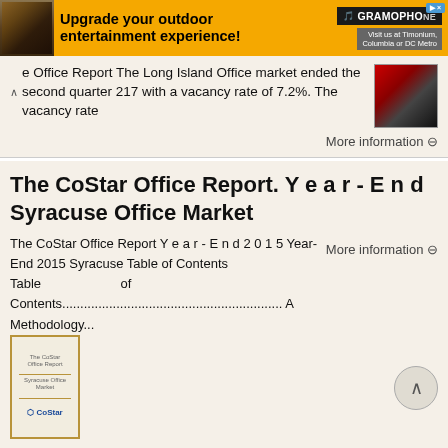[Figure (other): Advertisement banner: Gramophone audio/electronics ad. Orange background with text 'Upgrade your outdoor entertainment experience!' and Gramophone logo. 'Visit us at Timonium, Columbia or DC Metro']
e Office Report The Long Island Office market ended the second quarter 217 with a vacancy rate of 7.2%. The vacancy rate
More information ⊖
The CoStar Office Report. Y e a r - E n d Syracuse Office Market
The CoStar Office Report Y e a r - E n d 2 0 1 5 Year-End 2015 Syracuse Table of Contents                    Table                    of Contents............................................................. A Methodology...................................................................
[Figure (other): Thumbnail image of CoStar Office Report document cover with gold border]
More information ⊖
Office Market Continues to Improve